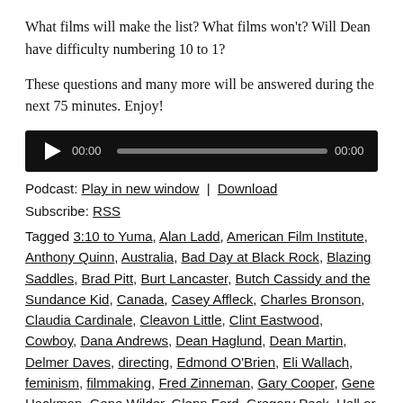What films will make the list? What films won't? Will Dean have difficulty numbering 10 to 1?
These questions and many more will be answered during the next 75 minutes. Enjoy!
[Figure (other): Audio player with play button, time display 00:00, progress bar, and end time 00:00 on black background]
Podcast: Play in new window | Download
Subscribe: RSS
Tagged 3:10 to Yuma, Alan Ladd, American Film Institute, Anthony Quinn, Australia, Bad Day at Black Rock, Blazing Saddles, Brad Pitt, Burt Lancaster, Butch Cassidy and the Sundance Kid, Canada, Casey Affleck, Charles Bronson, Claudia Cardinale, Cleavon Little, Clint Eastwood, Cowboy, Dana Andrews, Dean Haglund, Dean Martin, Delmer Daves, directing, Edmond O'Brien, Eli Wallach, feminism, filmmaking, Fred Zinneman, Gary Cooper, Gene Hackman, Gene Wilder, Glenn Ford, Gregory Peck, Hell or High Water, Henry Fonda, Henry...